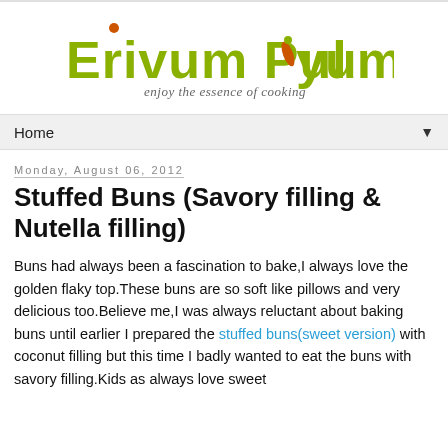[Figure (logo): Erivum Puliyum blog logo with green text and chilli graphic, tagline: enjoy the essence of cooking]
Home ▼
Monday, August 06, 2012
Stuffed Buns (Savory filling & Nutella filling)
Buns had always been a fascination to bake,I always love the golden flaky top.These buns are so soft like pillows and very delicious too.Believe me,I was always reluctant about baking buns until earlier I prepared the stuffed buns(sweet version) with coconut filling but this time I badly wanted to eat the buns with savory filling.Kids as always love sweet